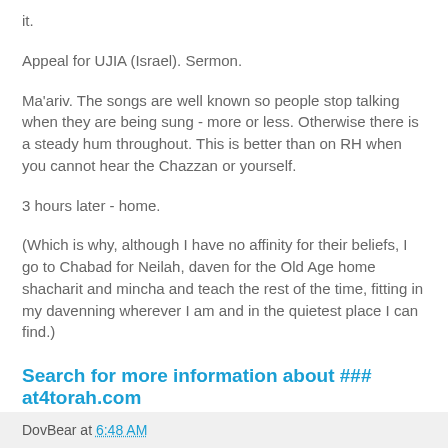it.
Appeal for UJIA (Israel). Sermon.
Ma'ariv. The songs are well known so people stop talking when they are being sung - more or less. Otherwise there is a steady hum throughout. This is better than on RH when you cannot hear the Chazzan or yourself.
3 hours later - home.
(Which is why, although I have no affinity for their beliefs, I go to Chabad for Neilah, daven for the Old Age home shacharit and mincha and teach the rest of the time, fitting in my davenning wherever I am and in the quietest place I can find.)
Search for more information about ### at4torah.com
DovBear at 6:48 AM